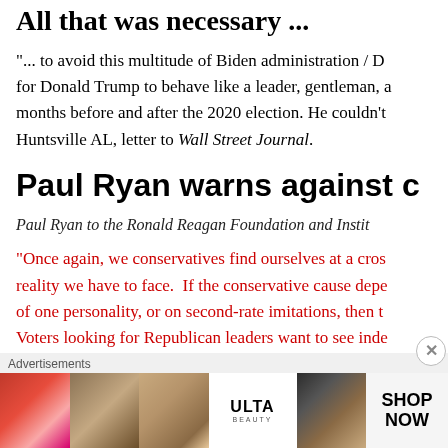All that was necessary ...
"... to avoid this multitude of Biden administration / D for Donald Trump to behave like a leader, gentleman, a months before and after the 2020 election. He couldn't Huntsville AL, letter to Wall Street Journal.
Paul Ryan warns against c
Paul Ryan to the Ronald Reagan Foundation and Instit
“Once again, we conservatives find ourselves at a cros reality we have to face.  If the conservative cause depe of one personality, or on second-rate imitations, then t Voters looking for Republican leaders want to see inde
Advertisements
[Figure (photo): Ulta Beauty advertisement banner showing makeup-related images (lips, brush, eyes) with ULTA beauty logo and SHOP NOW text]